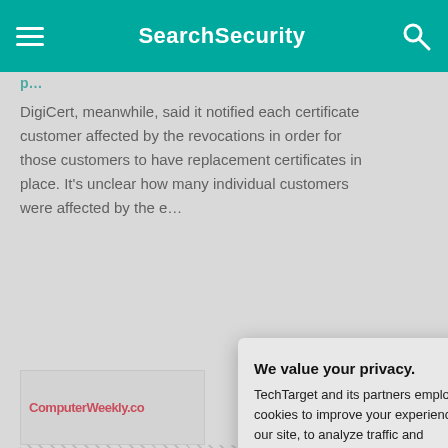SearchSecurity
DigiCert, meanwhile, said it notified each certificate customer affected by the revocations in order for those customers to have replacement certificates in place. It's unclear how many individual customers were affected by the e…
[Figure (screenshot): Partial ComputerWeekly.com logo image, partially obscured by modal overlay]
Related Resou…
Making Sure Your I… Doing What You Ne… –SearchSecurity.com…
Aligning Enterprise… Priorities
We value your privacy. TechTarget and its partners employ cookies to improve your experience on our site, to analyze traffic and performance, and to serve personalized content and advertising that are relevant to your professional interests. You can manage your settings at any time. Please view our Privacy Policy for more information